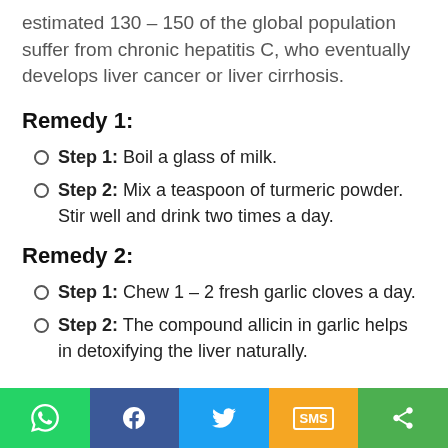estimated 130 – 150 of the global population suffer from chronic hepatitis C, who eventually develops liver cancer or liver cirrhosis.
Remedy 1:
Step 1: Boil a glass of milk.
Step 2: Mix a teaspoon of turmeric powder. Stir well and drink two times a day.
Remedy 2:
Step 1: Chew 1 – 2 fresh garlic cloves a day.
Step 2: The compound allicin in garlic helps in detoxifying the liver naturally.
[Figure (infographic): Social sharing bar with WhatsApp, Facebook, Twitter, SMS, and Share buttons]